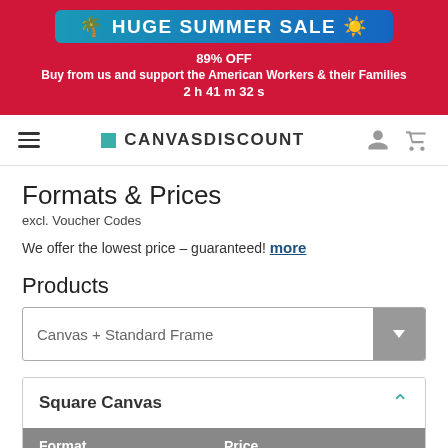HUGE SUMMER SALE 89% OFF Buy from us and support the American Workers & their Families 2 h 41 m 32 s
[Figure (logo): CanvasDiscount logo with teal square icon and navigation icons]
Formats & Prices
excl. Voucher Codes
We offer the lowest price – guaranteed! more
Products
Canvas + Standard Frame
Square Canvas
| Format | Price |
| --- | --- |
| 8"x8" | $ 69.00  $ 5.00 |